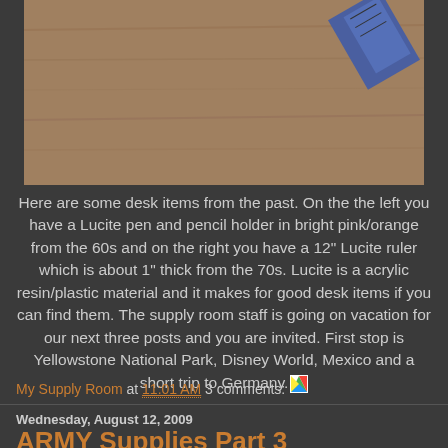[Figure (photo): A photograph of desk items on a wooden surface, showing a Lucite pen/pencil holder and a ruler partially visible in the upper right corner.]
Here are some desk items from the past. On the the left you have a Lucite pen and pencil holder in bright pink/orange from the 60s and on the right you have a 12" Lucite ruler which is about 1" thick from the 70s. Lucite is a acrylic resin/plastic material and it makes for good desk items if you can find them. The supply room staff is going on vacation for our next three posts and you are invited. First stop is Yellowstone National Park, Disney World, Mexico and a short trip to Germany.
My Supply Room at 11:01 AM   3 comments:
Wednesday, August 12, 2009
ARMY Supplies Part 3